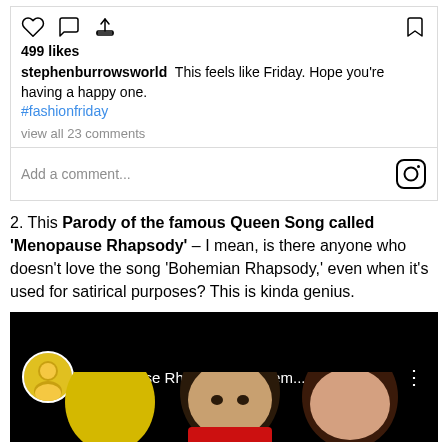[Figure (screenshot): Instagram post action bar with heart, comment, share icons and bookmark icon]
499 likes
stephenburrowsworld This feels like Friday. Hope you're having a happy one. #fashionfriday
view all 23 comments
Add a comment...
2. This Parody of the famous Queen Song called 'Menopause Rhapsody' – I mean, is there anyone who doesn't love the song 'Bohemian Rhapsody,' even when it's used for satirical purposes? This is kinda genius.
[Figure (screenshot): YouTube video thumbnail showing 'Menopause Rhapsody - Bohem...' with channel avatar and three people visible at bottom]